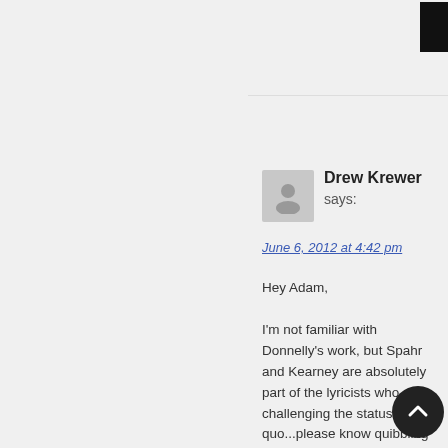Reply
Drew Krewer says:
June 6, 2012 at 4:42 pm
Hey Adam,

I'm not familiar with Donnelly's work, but Spahr and Kearney are absolutely part of the lyricists who are challenging the status-quo...please know quibbling about people winning awards. I just recently saw Kearney